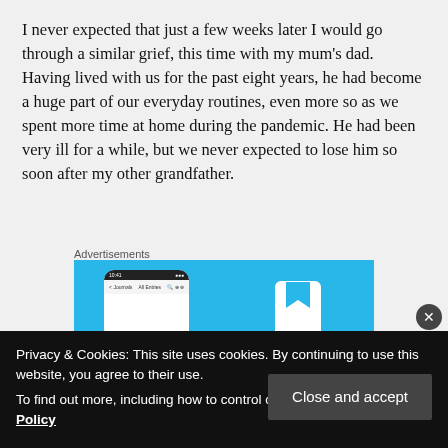I never expected that just a few weeks later I would go through a similar grief, this time with my mum's dad. Having lived with us for the past eight years, he had become a huge part of our everyday routines, even more so as we spent more time at home during the pandemic. He had been very ill for a while, but we never expected to lose him so soon after my other grandfather.
Advertisements
[Figure (screenshot): Advertisement banner with blue background showing a smartphone app screenshot on the left and a book/save icon on the right]
Privacy & Cookies: This site uses cookies. By continuing to use this website, you agree to their use.
To find out more, including how to control cookies, see here: Cookie Policy